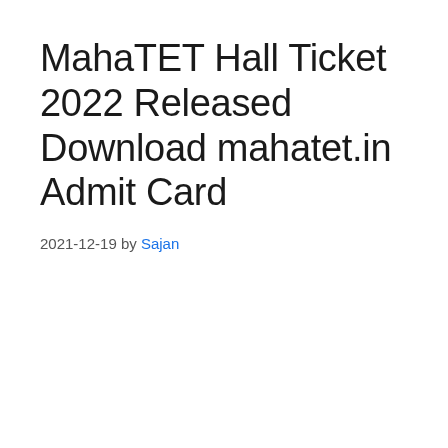MahaTET Hall Ticket 2022 Released Download mahatet.in Admit Card
2021-12-19 by Sajan